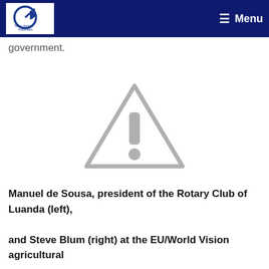Tellus Venture Associates — Menu
government.
[Figure (illustration): Gray warning/alert triangle icon with exclamation mark — placeholder image indicator]
Manuel de Sousa, president of the Rotary Club of Luanda (left), and Steve Blum (right) at the EU/World Vision agricultural